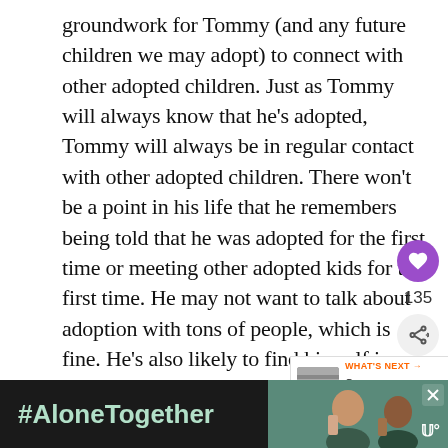groundwork for Tommy (and any future children we may adopt) to connect with other adopted children. Just as Tommy will always know that he's adopted, Tommy will always be in regular contact with other adopted children. There won't be a point in his life that he remembers being told that he was adopted for the first time or meeting other adopted kids for the first time. He may not want to talk about adoption with tons of people, which is fine. He's also likely to find himself in any number of scenerios in which he's the only adopted child. However, he won't ever feel like the only adopted kid in his larger community.
[Figure (other): Purple circular heart/like button, count '135', and share button in sidebar]
[Figure (other): WHAT'S NEXT banner with thumbnail image showing 'Common Adoption...' text]
[Figure (other): Advertisement banner with #AloneTogether text on dark background with photo of people]